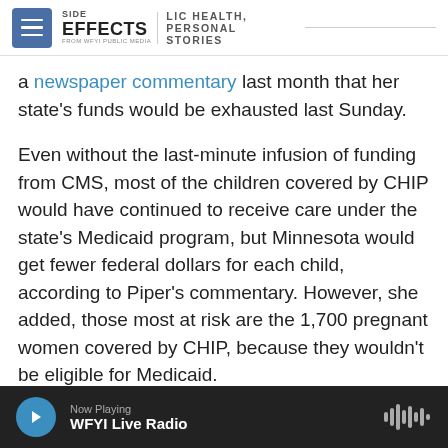SIDE EFFECTS PUBLIC HEALTH, PERSONAL STORIES FROM WFYI PUBLIC MEDIA
a newspaper commentary last month that her state's funds would be exhausted last Sunday.
Even without the last-minute infusion of funding from CMS, most of the children covered by CHIP would have continued to receive care under the state's Medicaid program, but Minnesota would get fewer federal dollars for each child, according to Piper's commentary. However, she added, those most at risk are the 1,700 pregnant women covered by CHIP, because they wouldn't be eligible for Medicaid.
Now Playing WFYI Live Radio